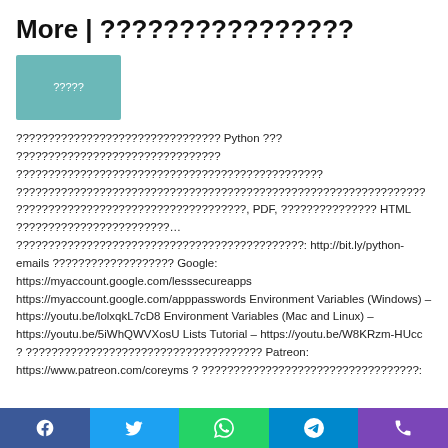More | ????????????????
[Figure (illustration): Teal/muted green rectangular button with Thai text]
???????????????????????????????? Python ??? ???????????????????????????????? ???????????????????????????????????????????????? ???????????????????????????????????????????????????????????????? ????????????????????????????????????, PDF, ??????????????? HTML ????????????????????????... ???????????????????????????????????????????????????: http://bit.ly/python-emails ??????????????????? Google: https://myaccount.google.com/lesssecureapps https://myaccount.google.com/apppasswords Environment Variables (Windows) – https://youtu.be/lolxqkL7cD8 Environment Variables (Mac and Linux) – https://youtu.be/5iWhQWVXosU Lists Tutorial – https://youtu.be/W8KRzm-HUcc ? ????????????????????????????????????? Patreon: https://www.patreon.com/coreyms ? ??????????????????????????????????:
[Figure (infographic): Footer social media share bar with Facebook, Twitter, WhatsApp, Telegram, and Phone icons on colored backgrounds]